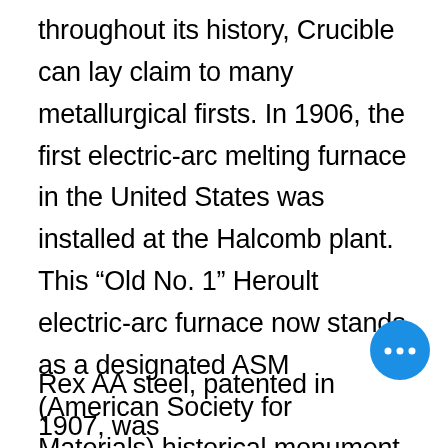throughout its history, Crucible can lay claim to many metallurgical firsts. In 1906, the first electric-arc melting furnace in the United States was installed at the Halcomb plant. This “Old No. 1” Heroult electric-arc furnace now stands as a designated ASM (American Society for Materials) historical monument at Station Square in Pittsburgh.
[Figure (other): Blue circular chat button with three dots]
Rex AA steel, patented in 1907, was